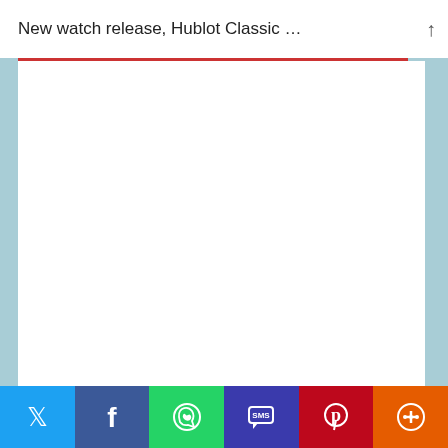New watch release, Hublot Classic …
[Figure (other): Blank white content area placeholder for article image or content]
Published by Joseph Rana
VIEW ALL POSTS BY JOSEPH RANA →
[Figure (infographic): Social share bar with Twitter (blue), Facebook (dark blue), WhatsApp (green), SMS (purple), Pinterest (red), and More (orange) buttons]